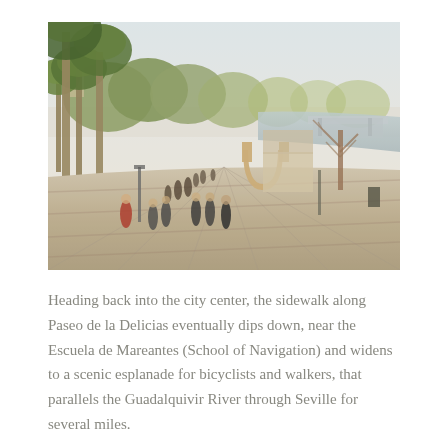[Figure (photo): Outdoor scene along a riverside promenade. People walking along a wide stone-paved esplanade next to the Guadalquivir River in Seville. Palm trees line the left side, a large U-shaped sculpture in the center, a bridge visible in the background over the river, bare trees on the right, soft hazy morning light.]
Heading back into the city center, the sidewalk along Paseo de la Delicias eventually dips down, near the Escuela de Mareantes (School of Navigation) and widens to a scenic esplanade for bicyclists and walkers, that parallels the Guadalquivir River through Seville for several miles.